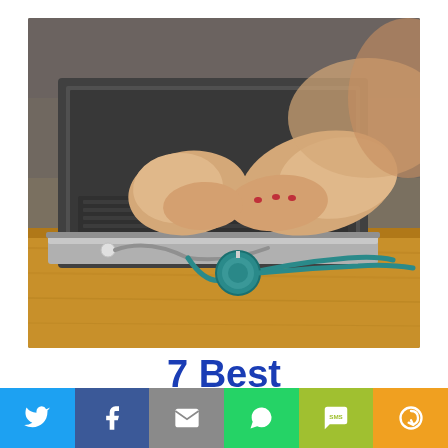[Figure (photo): Person typing on a laptop with a stethoscope lying on wooden desk in the foreground]
7 Best International Insurance Plans for
[Figure (infographic): Social media sharing bar with Twitter, Facebook, Email, WhatsApp, SMS, and More buttons]